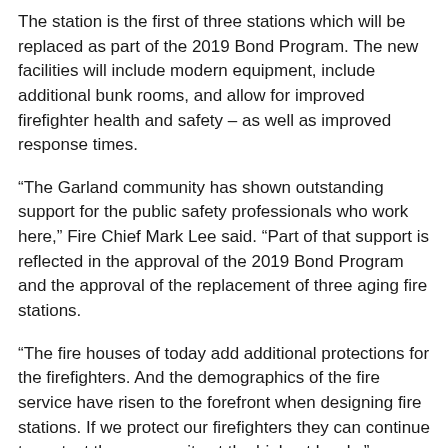The station is the first of three stations which will be replaced as part of the 2019 Bond Program. The new facilities will include modern equipment, include additional bunk rooms, and allow for improved firefighter health and safety – as well as improved response times.
“The Garland community has shown outstanding support for the public safety professionals who work here,” Fire Chief Mark Lee said. “Part of that support is reflected in the approval of the 2019 Bond Program and the approval of the replacement of three aging fire stations.
“The fire houses of today add additional protections for the firefighters. And the demographics of the fire service have risen to the forefront when designing fire stations. If we protect our firefighters they can continue to protect the community at the highest levels.”
The design of Fire Station 6 will begin in the fall. Construction is anticipated to happen in 2022. It will replace the current Station 6, which has been in service since 1980 at 2009 Holford Road.